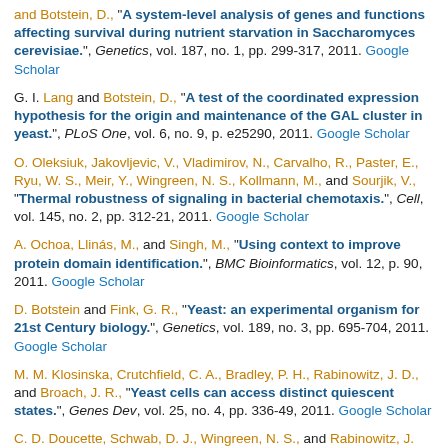and Botstein, D., "A system-level analysis of genes and functions affecting survival during nutrient starvation in Saccharomyces cerevisiae.", Genetics, vol. 187, no. 1, pp. 299-317, 2011. Google Scholar
G. I. Lang and Botstein, D., "A test of the coordinated expression hypothesis for the origin and maintenance of the GAL cluster in yeast.", PLoS One, vol. 6, no. 9, p. e25290, 2011. Google Scholar
O. Oleksiuk, Jakovljevic, V., Vladimirov, N., Carvalho, R., Paster, E., Ryu, W. S., Meir, Y., Wingreen, N. S., Kollmann, M., and Sourjik, V., "Thermal robustness of signaling in bacterial chemotaxis.", Cell, vol. 145, no. 2, pp. 312-21, 2011. Google Scholar
A. Ochoa, Llinás, M., and Singh, M., "Using context to improve protein domain identification.", BMC Bioinformatics, vol. 12, p. 90, 2011. Google Scholar
D. Botstein and Fink, G. R., "Yeast: an experimental organism for 21st Century biology.", Genetics, vol. 189, no. 3, pp. 695-704, 2011. Google Scholar
M. M. Klosinska, Crutchfield, C. A., Bradley, P. H., Rabinowitz, J. D., and Broach, J. R., "Yeast cells can access distinct quiescent states.", Genes Dev, vol. 25, no. 4, pp. 336-49, 2011. Google Scholar
C. D. Doucette, Schwab, D. J., Wingreen, N. S., and Rabinowitz, J. D., "α-Ketoglutarate coordinates carbon and nitrogen utilization via enzyme I inhibition.", Nat Chem Biol, vol. 7, no. 12, pp. 894-901, 2011. Google Scholar